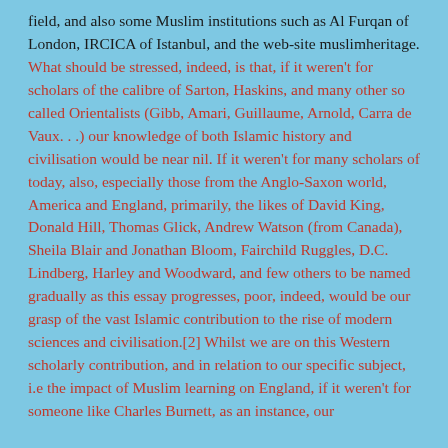field, and also some Muslim institutions such as Al Furqan of London, IRCICA of Istanbul, and the web-site muslimheritage. What should be stressed, indeed, is that, if it weren't for scholars of the calibre of Sarton, Haskins, and many other so called Orientalists (Gibb, Amari, Guillaume, Arnold, Carra de Vaux. . .) our knowledge of both Islamic history and civilisation would be near nil. If it weren't for many scholars of today, also, especially those from the Anglo-Saxon world, America and England, primarily, the likes of David King, Donald Hill, Thomas Glick, Andrew Watson (from Canada), Sheila Blair and Jonathan Bloom, Fairchild Ruggles, D.C. Lindberg, Harley and Woodward, and few others to be named gradually as this essay progresses, poor, indeed, would be our grasp of the vast Islamic contribution to the rise of modern sciences and civilisation.[2] Whilst we are on this Western scholarly contribution, and in relation to our specific subject, i.e the impact of Muslim learning on England, if it weren't for someone like Charles Burnett, as an instance, our